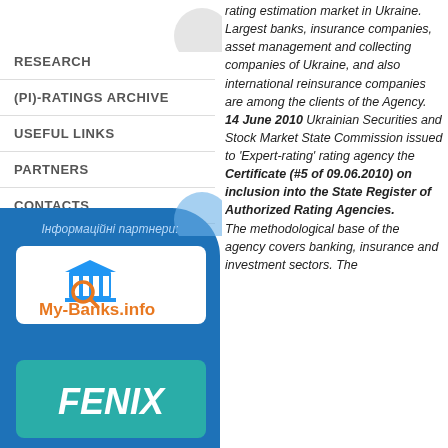RESEARCH
(PI)-RATINGS ARCHIVE
USEFUL LINKS
PARTNERS
CONTACTS
Інформаційні партнери:
[Figure (logo): My-Banks.info logo with bank building icon and magnifying glass]
[Figure (logo): FENIX logo on teal/green background]
rating estimation market in Ukraine. Largest banks, insurance companies, asset management and collecting companies of Ukraine, and also international reinsurance companies are among the clients of the Agency. 14 June 2010 Ukrainian Securities and Stock Market State Commission issued to 'Expert-rating' rating agency the Certificate (#5 of 09.06.2010) on inclusion into the State Register of Authorized Rating Agencies. The methodological base of the agency covers banking, insurance and investment sectors. The